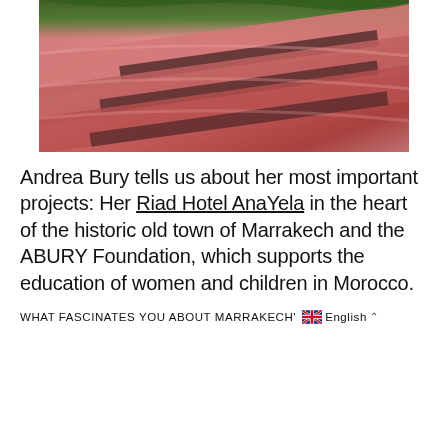[Figure (photo): Close-up photo of curved pink/terracotta architectural elements or canopies with dark shadows between them and green foliage visible at the top]
Andrea Bury tells us about her most important projects: Her Riad Hotel AnaYela in the heart of the historic old town of Marrakech and the ABURY Foundation, which supports the education of women and children in Morocco.
WHAT FASCINATES YOU ABOUT MARRAKECH'